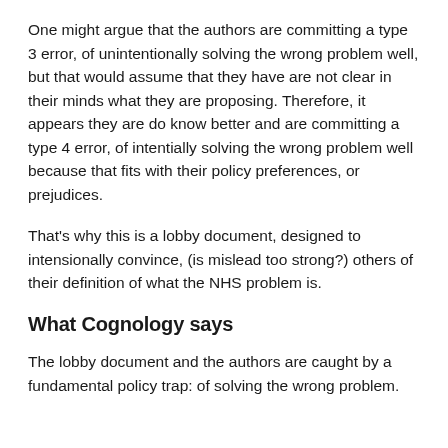One might argue that the authors are committing a type 3 error, of unintentionally solving the wrong problem well, but that would assume that they have are not clear in their minds what they are proposing. Therefore, it appears they are do know better and are committing a type 4 error, of intentially solving the wrong problem well because that fits with their policy preferences, or prejudices.
That's why this is a lobby document, designed to intensionally convince, (is mislead too strong?) others of their definition of what the NHS problem is.
What Cognology says
The lobby document and the authors are caught by a fundamental policy trap: of solving the wrong problem.